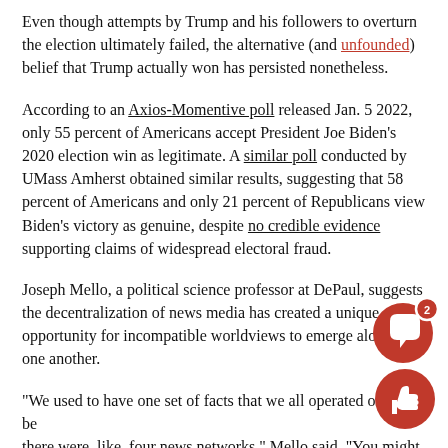Even though attempts by Trump and his followers to overturn the election ultimately failed, the alternative (and unfounded) belief that Trump actually won has persisted nonetheless.
According to an Axios-Momentive poll released Jan. 5 2022, only 55 percent of Americans accept President Joe Biden's 2020 election win as legitimate. A similar poll conducted by UMass Amherst obtained similar results, suggesting that 58 percent of Americans and only 21 percent of Republicans view Biden's victory as genuine, despite no credible evidence supporting claims of widespread electoral fraud.
Joseph Mello, a political science professor at DePaul, suggests the decentralization of news media has created a unique opportunity for incompatible worldviews to emerge alongside one another.
“We used to have one set of facts that we all operated on, because there were, like, four news networks,” Mello said. “You might have disagreed on what the best course of action was, but you didn’t disagree about what the facts said. Now, we have a situation where
[Figure (infographic): Red circular comment button with chat bubble icon and badge showing '2', and a red circular like/thumbs-up button, both overlaid on the bottom-right of the page.]